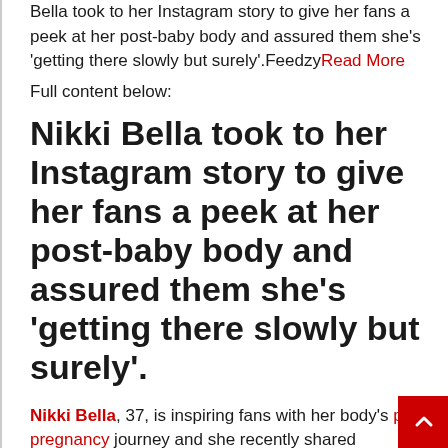Bella took to her Instagram story to give her fans a peek at her post-baby body and assured them she's 'getting there slowly but surely'.Feedzy Read More
Full content below:
Nikki Bella took to her Instagram story to give her fans a peek at her post-baby body and assured them she's 'getting there slowly but surely'.
Nikki Bella, 37, is inspiring fans with her body's post-pregnancy journey and she recently shared